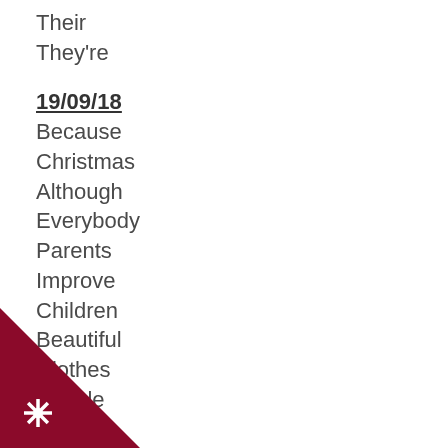Their
They're
19/09/18
Because
Christmas
Although
Everybody
Parents
Improve
Children
Beautiful
Clothes
People
[Figure (logo): Dark red triangular corner logo with a white star/sun burst icon labeled C]